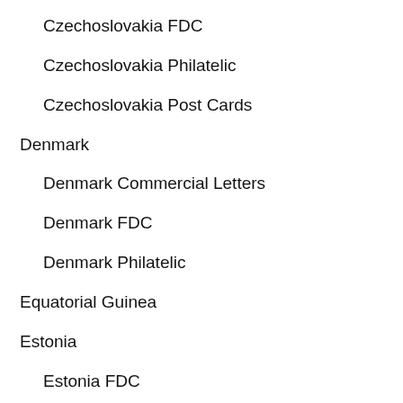Czechoslovakia FDC
Czechoslovakia Philatelic
Czechoslovakia Post Cards
Denmark
Denmark Commercial Letters
Denmark FDC
Denmark Philatelic
Equatorial Guinea
Estonia
Estonia FDC
Estonia Philatelic
Faroe Islands
Finland
Finland Commercial Letters
Finland FDC